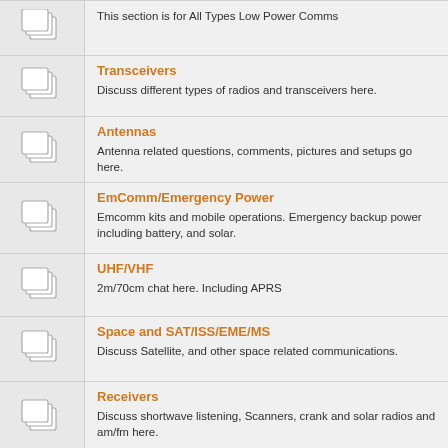This section is for All Types Low Power Comms
Transceivers
Discuss different types of radios and transceivers here.
Antennas
Antenna related questions, comments, pictures and setups go here.
EmComm/Emergency Power
Emcomm kits and mobile operations. Emergency backup power including battery, and solar.
UHF/VHF
2m/70cm chat here. Including APRS
Space and SAT/ISS/EME/MS
Discuss Satellite, and other space related communications.
Receivers
Discuss shortwave listening, Scanners, crank and solar radios and am/fm here.
Kit Building
Post here your kit builds.
Equipment Reviews
Review equipment you have. Let others know the experiences